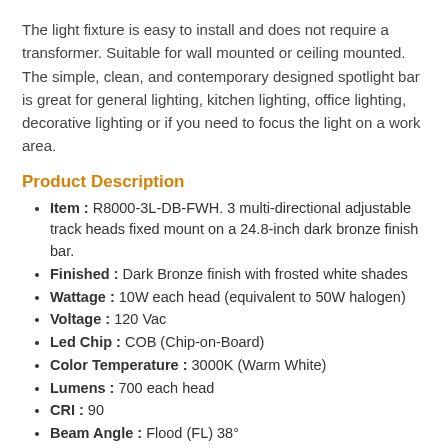The light fixture is easy to install and does not require a transformer. Suitable for wall mounted or ceiling mounted. The simple, clean, and contemporary designed spotlight bar is great for general lighting, kitchen lighting, office lighting, decorative lighting or if you need to focus the light on a work area.
Product Description
Item : R8000-3L-DB-FWH. 3 multi-directional adjustable track heads fixed mount on a 24.8-inch dark bronze finish bar.
Finished : Dark Bronze finish with frosted white shades
Wattage : 10W each head (equivalent to 50W halogen)
Voltage : 120 Vac
Led Chip : COB (Chip-on-Board)
Color Temperature : 3000K (Warm White)
Lumens : 700 each head
CRI : 90
Beam Angle : Flood (FL) 38°
Dimmable : with approved dimmer Lutron #DVCL-153P(Dimmer Not Included)
Average Life : 40,000 Hours ( 80% decay at 25,000